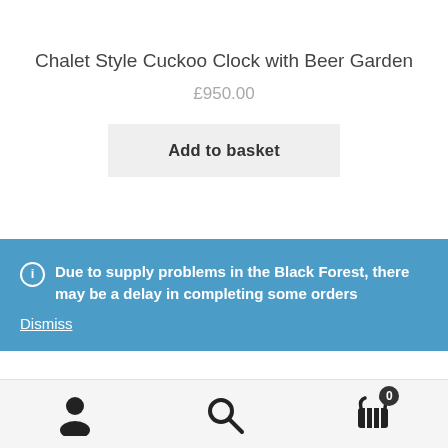Chalet Style Cuckoo Clock with Beer Garden
£950.00
Add to basket
Due to supply problems in the Black Forest, there may be a delay in completing some orders
Dismiss
[Figure (other): Bottom navigation bar with user icon, search icon, and basket icon with badge showing 0]